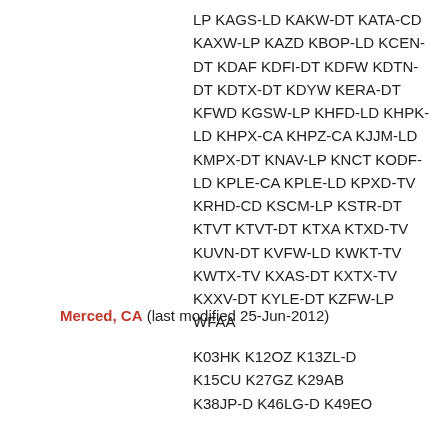LP KAGS-LD KAKW-DT KATA-CD KAXW-LP KAZD KBOP-LD KCEN-DT KDAF KDFI-DT KDFW KDTN-DT KDTX-DT KDYW KERA-DT KFWD KGSW-LP KHFD-LD KHPK-LD KHPX-CA KHPZ-CA KJJM-LD KMPX-DT KNAV-LP KNCT KODF-LD KPLE-CA KPLE-LD KPXD-TV KRHD-CD KSCM-LP KSTR-DT KTVT KTVT-DT KTXA KTXD-TV KUVN-DT KVFW-LD KWKT-TV KWTX-TV KXAS-DT KXTX-TV KXXV-DT KYLE-DT KZFW-LP WFAA
Merced, CA (last modified 25-Jun-2012)
K03HK K12OZ K13ZL-D K15CU K27GZ K29AB K38JP-D K46LG-D K49EO